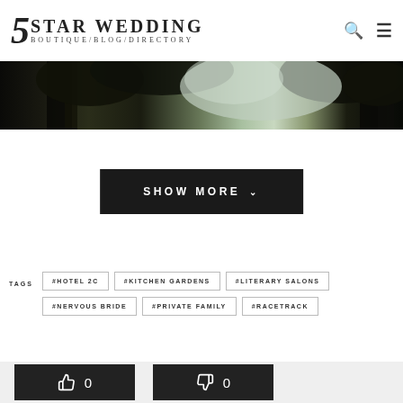5 STAR WEDDING BOUTIQUE/BLOG/DIRECTORY
[Figure (photo): Dark tree canopy photo strip used as hero/banner image]
SHOW MORE
TAGS  #HOTEL 2C  #KITCHEN GARDENS  #LITERARY SALONS  #NERVOUS BRIDE  #PRIVATE FAMILY  #RACETRACK
[Figure (other): Bottom gray section with like/dislike vote boxes showing thumbs up 0 and thumbs down 0]